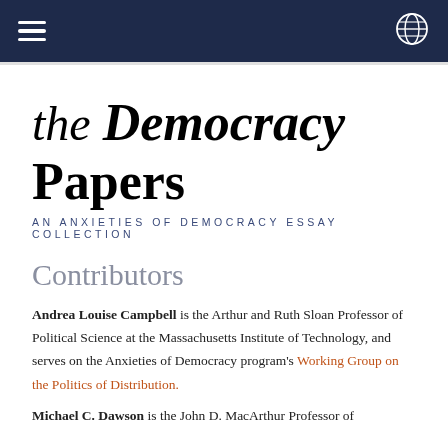[Navigation bar with hamburger menu and globe icon]
the Democracy Papers
AN ANXIETIES OF DEMOCRACY ESSAY COLLECTION
Contributors
Andrea Louise Campbell is the Arthur and Ruth Sloan Professor of Political Science at the Massachusetts Institute of Technology, and serves on the Anxieties of Democracy program's Working Group on the Politics of Distribution.
Michael C. Dawson is the John D. MacArthur Professor of